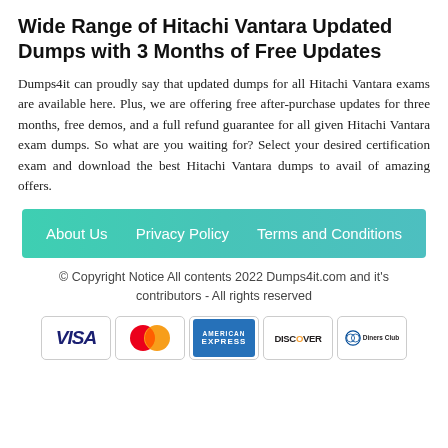Wide Range of Hitachi Vantara Updated Dumps with 3 Months of Free Updates
Dumps4it can proudly say that updated dumps for all Hitachi Vantara exams are available here. Plus, we are offering free after-purchase updates for three months, free demos, and a full refund guarantee for all given Hitachi Vantara exam dumps. So what are you waiting for? Select your desired certification exam and download the best Hitachi Vantara dumps to avail of amazing offers.
About Us
Privacy Policy
Terms and Conditions
© Copyright Notice All contents 2022 Dumps4it.com and it's contributors - All rights reserved
[Figure (other): Payment method logos: VISA, MasterCard, American Express, Discover, Diners Club]